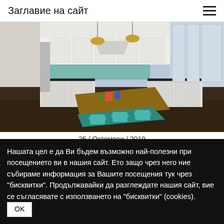Заглавие на сайт
[Figure (photo): Interior photo of a modern kitchen with white cabinets, teal accents, pendant lights, large island with wooden countertop and teal chairs, stainless steel appliances, mosaic tile backsplash.]
25 / Октомври / 2019
Нашата цел е да Ви бъдем възможно най-полезни при посещението ви в нашия сайт. Ето защо чрез него ние събираме информация за Вашите посещения тук чрез "бисквитки". Продължавайки да разглеждате нашия сайт, вие се съгласявате с използването на "бисквитки" (cookies). OK